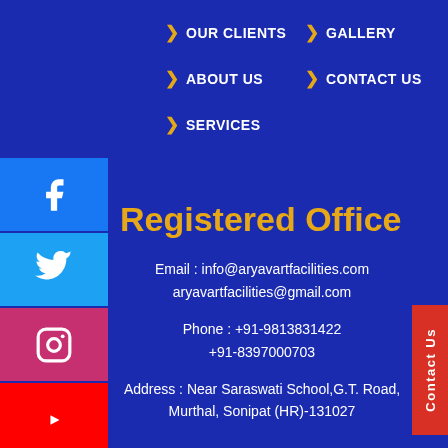> OUR CLIENTS
> GALLERY
> ABOUT US
> CONTACT US
> SERVICES
Registered Office
Email : info@aryavartfacilities.com
aryavartfacilities@gmail.com
Phone : +91-9813831422
+91-8397000703
Address : Near Saraswati School,G.T. Road,
Murthal, Sonipat (HR)-131027
[Figure (other): Social media icons: Facebook, Twitter, Instagram, YouTube]
Contact Us